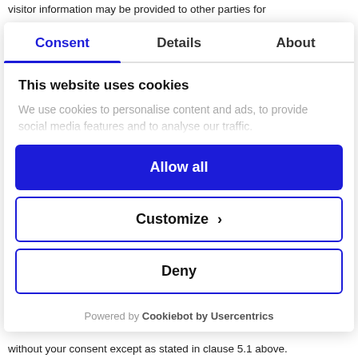visitor information may be provided to other parties for
[Figure (screenshot): Cookie consent modal dialog with tabs: Consent (active, blue), Details, About. Contains 'This website uses cookies' heading, faded description text, and three buttons: Allow all (blue filled), Customize (outlined with arrow), Deny (outlined). Footer shows 'Powered by Cookiebot by Usercentrics'.]
without your consent except as stated in clause 5.1 above.